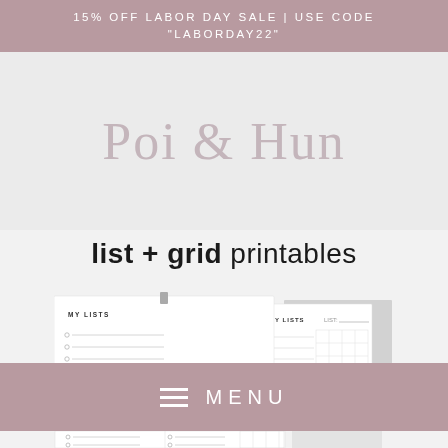15% OFF LABOR DAY SALE | USE CODE "LABORDAY22"
Poi & Hun
list + grid printables
[Figure (illustration): Screenshot of printable planner pages showing 'MY LISTS' pages with checkbox lines and a grid section, overlapping pages fanned out]
MENU